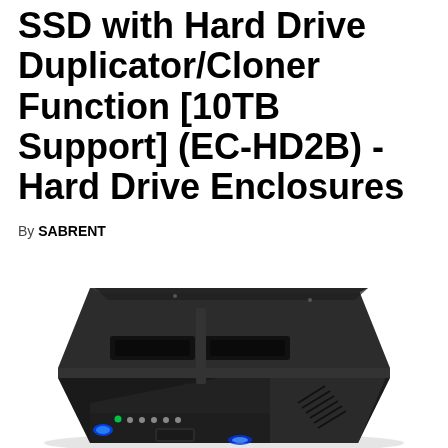SSD with Hard Drive Duplicator/Cloner Function [10TB Support] (EC-HD2B) -Hard Drive Enclosures
By SABRENT
[Figure (photo): Product photo of the SABRENT dual-bay hard drive docking station (EC-HD2B) in black, showing two drive slots on top, blue LED lights on the front, power and activity indicator LEDs, and ventilation slots on the side.]